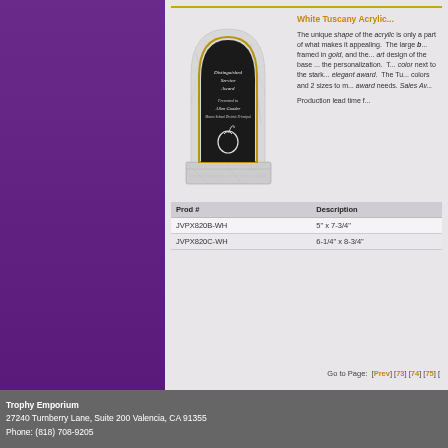[Figure (photo): White Tuscany acrylic award trophy with black panel and marble base, engraved with Distinguished Service Award text and apple graphic]
White Tuscany Acrylic...
The unique shape of the acrylic is only a part of what makes it appealing. The large black panel is framed in gold, and the state of the art design of the base complements the personalization. The white color next to the stark black makes an elegant award. The Tuscany comes in 2 colors and 2 sizes to meet your award needs. Sales Aw...
Production lead time f...
| Prod # | Description |
| --- | --- |
| JVPX820B-WH | 5" x 7-3/4" |
| JVPX820C-WH | 6-1/4" x 8-3/4" |
Go to Page: [Prev] [73] [74] [75] [
Trophy Emporium
27240 Turnberry Lane, Suite 200 Valencia, CA 91355
Phone: (818) 708-9205